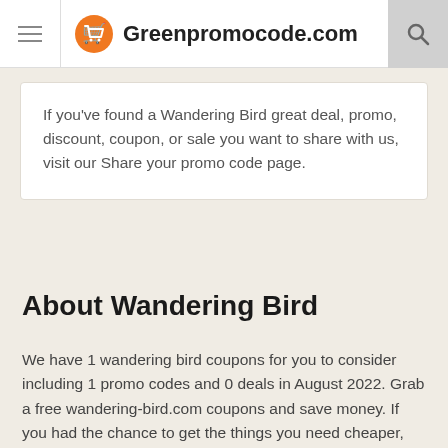Greenpromocode.com
If you've found a Wandering Bird great deal, promo, discount, coupon, or sale you want to share with us, visit our Share your promo code page.
About Wandering Bird
We have 1 wandering bird coupons for you to consider including 1 promo codes and 0 deals in August 2022. Grab a free wandering-bird.com coupons and save money. If you had the chance to get the things you need cheaper, would you take advantage of this chance? Why spend more than